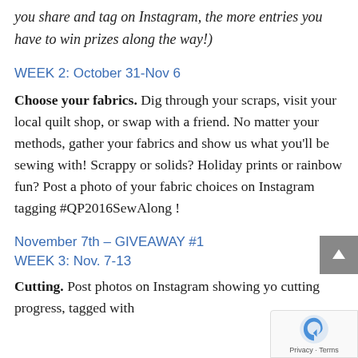you share and tag on Instagram, the more entries you have to win prizes along the way!)
WEEK 2: October 31-Nov 6
Choose your fabrics. Dig through your scraps, visit your local quilt shop, or swap with a friend. No matter your methods, gather your fabrics and show us what you'll be sewing with! Scrappy or solids? Holiday prints or rainbow fun? Post a photo of your fabric choices on Instagram tagging #QP2016SewAlong !
November 7th – GIVEAWAY #1
WEEK 3: Nov. 7-13
Cutting. Post photos on Instagram showing yo cutting progress, tagged with